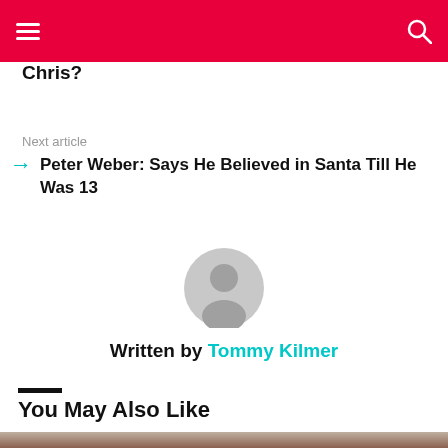Navigation header with menu and search icons
Chris?
Next article
Peter Weber: Says He Believed in Santa Till He Was 13
[Figure (illustration): Gray circular default user avatar icon]
Written by Tommy Kilmer
You May Also Like
[Figure (photo): Photo of a woman with long brown hair, partially visible at the bottom of the page]